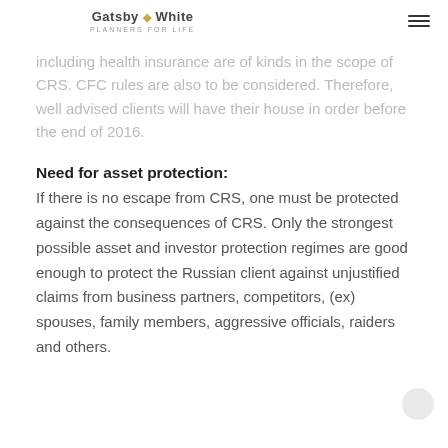Gatsby & White PLANNERS FOR LIFE
including health insurance are of kinds in the scope of CRS. CFC rules are also to be considered. Therefore, well advised clients will have their house in order before the end of 2016.
Need for asset protection:
If there is no escape from CRS, one must be protected against the consequences of CRS. Only the strongest possible asset and investor protection regimes are good enough to protect the Russian client against unjustified claims from business partners, competitors, (ex) spouses, family members, aggressive officials, raiders and others.